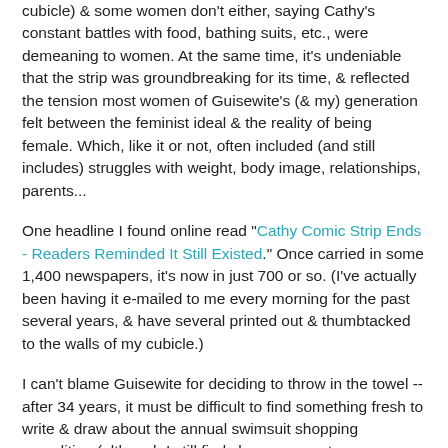cubicle) & some women don't either, saying Cathy's constant battles with food, bathing suits, etc., were demeaning to women. At the same time, it's undeniable that the strip was groundbreaking for its time, & reflected the tension most women of Guisewite's (& my) generation felt between the feminist ideal & the reality of being female. Which, like it or not, often included (and still includes) struggles with weight, body image, relationships, parents...
One headline I found online read "Cathy Comic Strip Ends - Readers Reminded It Still Existed." Once carried in some 1,400 newspapers, it's now in just 700 or so. (I've actually been having it e-mailed to me every morning for the past several years, & have several printed out & thumbtacked to the walls of my cubicle.)
I can't blame Guisewite for deciding to throw in the towel -- after 34 years, it must be difficult to find something fresh to write & draw about the annual swimsuit shopping expedition (although I still find she manages to come up with some really great observations, & I still find myself sending strips to people -- most recently to my husband, when Cathy &